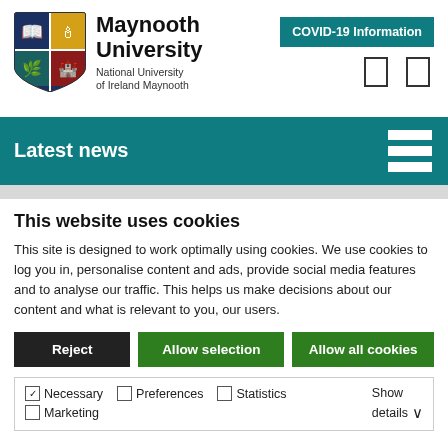[Figure (logo): Maynooth University shield logo with four quadrants in blue, yellow, red, blue colors]
Maynooth University
National University of Ireland Maynooth
COVID-19 Information
Latest news
This website uses cookies
This site is designed to work optimally using cookies. We use cookies to log you in, personalise content and ads, provide social media features and to analyse our traffic. This helps us make decisions about our content and what is relevant to you, our users.
Reject
Allow selection
Allow all cookies
Necessary  Preferences  Statistics  Marketing  Show details